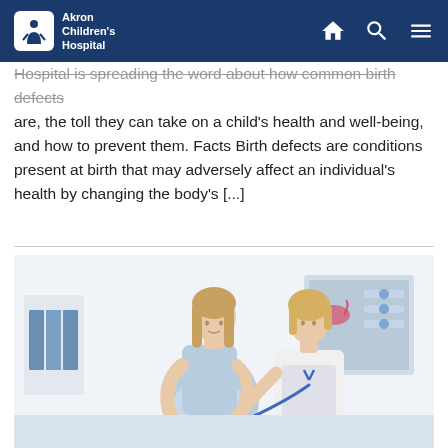Akron Children's Hospital
Hospital is spreading the word about how common birth defects are, the toll they can take on a child's health and well-being, and how to prevent them. Facts Birth defects are conditions present at birth that may adversely affect an individual's health by changing the body's [...]
[Figure (photo): A pregnant woman in a light blue top having her belly examined with a stethoscope by a female doctor in a white coat, in a medical office with anatomy posters in the background.]